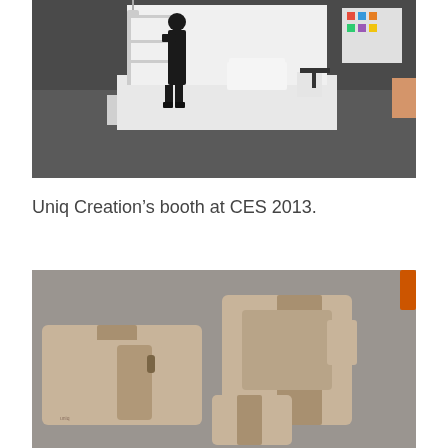[Figure (photo): A trade show booth with white furniture, shelving units displaying products in color, a person in dark clothing standing and viewing the display, on a dark gray carpeted floor.]
Uniq Creation’s booth at CES 2013.
[Figure (photo): A collection of beige/tan leather cases and wallets laid out on a gray fabric surface, showing smartphone cases and larger tablet or folio cases with two-tone tan and brown leather design.]